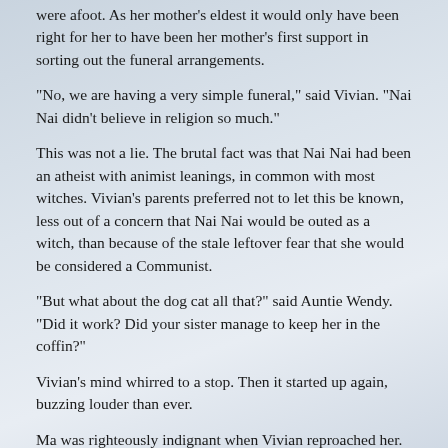were afoot. As her mother's eldest it would only have been right for her to have been her mother's first support in sorting out the funeral arrangements.
“No, we are having a very simple funeral,” said Vivian. “Nai Nai didn’t believe in religion so much.”
This was not a lie. The brutal fact was that Nai Nai had been an atheist with animist leanings, in common with most witches. Vivian’s parents preferred not to let this be known, less out of a concern that Nai Nai would be outed as a witch, than because of the stale leftover fear that she would be considered a Communist.
“But what about the dog cat all that?” said Auntie Wendy. “Did it work? Did your sister manage to keep her in the coffin?”
Vivian’s mind whirred to a stop. Then it started up again, buzzing louder than ever.
Ma was righteously indignant when Vivian reproached her.
“You live so long overseas, why you need to know?” said Ma. “Don’t worry. Yi Yi is handling it. Probably Nai Nai was not